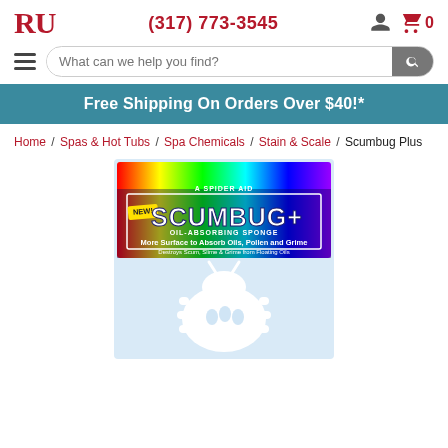RU | (317) 773-3545
What can we help you find?
Free Shipping On Orders Over $40!*
Home / Spas & Hot Tubs / Spa Chemicals / Stain & Scale / Scumbug Plus
[Figure (photo): Product packaging photo of Scumbug Plus oil-absorbing sponge, showing a white bug-shaped foam sponge inside a clear plastic package with a colorful rainbow-gradient label reading 'NEW! SCUMBUG+ OIL-ABSORBING SPONGE — More Surface to Absorb Oils, Pollen and Grime. Destroys Scum, Slime & Grime from Floating Oils.']